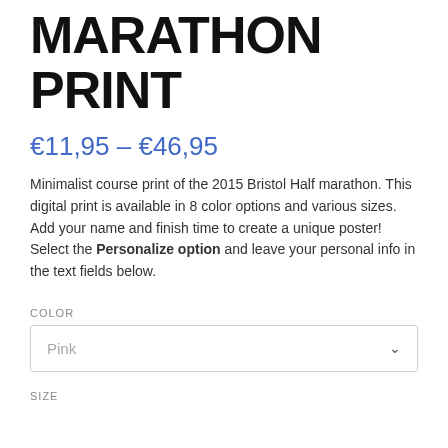MARATHON PRINT
€11,95 – €46,95
Minimalist course print of the 2015 Bristol Half marathon. This digital print is available in 8 color options and various sizes. Add your name and finish time to create a unique poster! Select the Personalize option and leave your personal info in the text fields below.
COLOR
Pink
SIZE